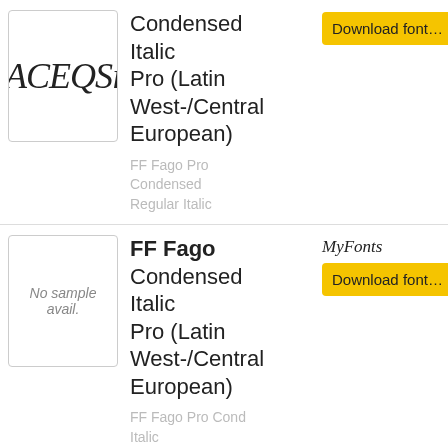[Figure (illustration): Font preview box showing italic script letters ACEQSi]
Condensed Italic Pro (Latin West-/Central European)
FF Fago Pro Condensed Regular Italic
[Figure (other): Download font button with yellow background]
[Figure (illustration): Font preview box showing No sample avail.]
FF Fago Condensed Italic Pro (Latin West-/Central European)
FF Fago Pro Cond Italic
[Figure (logo): MyFonts logo in italic script]
[Figure (other): Download font button with yellow background]
[Figure (illustration): Partial font preview box showing italic letters at bottom of page]
FF Fago
[Figure (logo): FontShop logo with Font in black box and Shop in white]